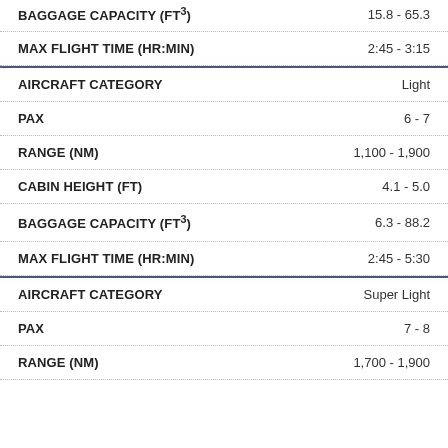| Property | Value |
| --- | --- |
| BAGGAGE CAPACITY (FT³) | 15.8 - 65.3 |
| MAX FLIGHT TIME (HR:MIN) | 2:45 - 3:15 |
| AIRCRAFT CATEGORY | Light |
| PAX | 6 - 7 |
| RANGE (NM) | 1,100 - 1,900 |
| CABIN HEIGHT (FT) | 4.1 - 5.0 |
| BAGGAGE CAPACITY (FT³) | 6.3 - 88.2 |
| MAX FLIGHT TIME (HR:MIN) | 2:45 - 5:30 |
| AIRCRAFT CATEGORY | Super Light |
| PAX | 7 - 8 |
| RANGE (NM) | 1,700 - 1,900 |